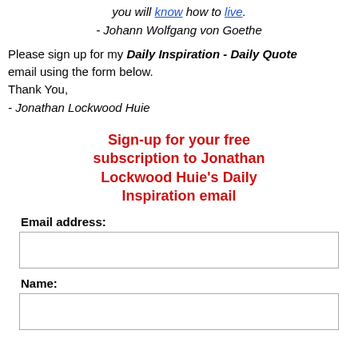you will know how to live. - Johann Wolfgang von Goethe
Please sign up for my Daily Inspiration - Daily Quote email using the form below.
Thank You,
- Jonathan Lockwood Huie
Sign-up for your free subscription to Jonathan Lockwood Huie's Daily Inspiration email
Email address:
Name: